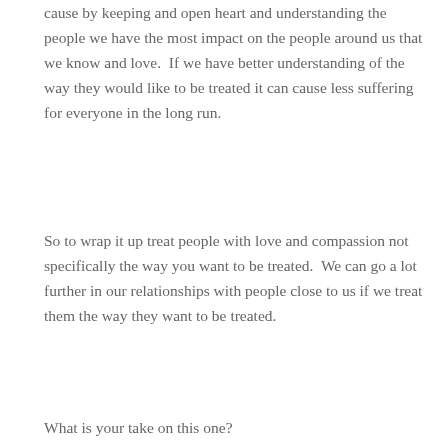cause by keeping and open heart and understanding the people we have the most impact on the people around us that we know and love.  If we have better understanding of the way they would like to be treated it can cause less suffering for everyone in the long run.
So to wrap it up treat people with love and compassion not specifically the way you want to be treated.  We can go a lot further in our relationships with people close to us if we treat them the way they want to be treated.
What is your take on this one?